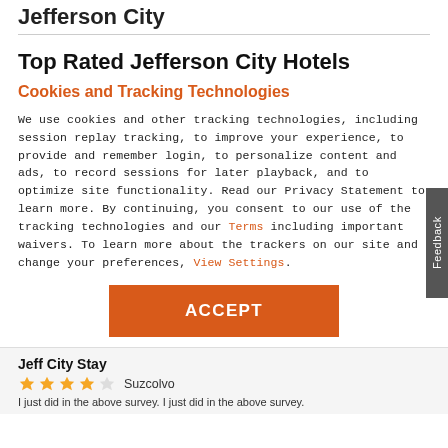Jefferson City
Top Rated Jefferson City Hotels
Cookies and Tracking Technologies
We use cookies and other tracking technologies, including session replay tracking, to improve your experience, to provide and remember login, to personalize content and ads, to record sessions for later playback, and to optimize site functionality. Read our Privacy Statement to learn more. By continuing, you consent to our use of the tracking technologies and our Terms including important waivers. To learn more about the trackers on our site and change your preferences, View Settings.
ACCEPT
Jeff City Stay
★★★★☆  Suzcolvo
I just did in the above survey. I just did in the above survey.